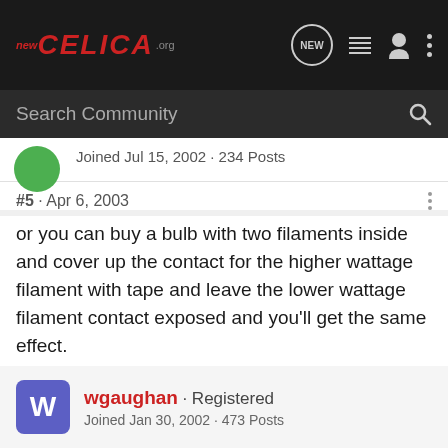NewCelica.org navigation bar
Search Community
Joined Jul 15, 2002 · 234 Posts
#5 · Apr 6, 2003
or you can buy a bulb with two filaments inside and cover up the contact for the higher wattage filament with tape and leave the lower wattage filament contact exposed and you'll get the same effect.
wgaughan · Registered
Joined Jan 30, 2002 · 473 Posts